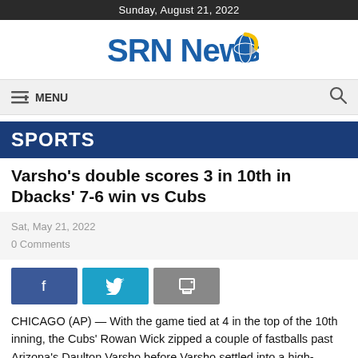Sunday, August 21, 2022
[Figure (logo): SRN News logo with globe icon]
MENU (navigation bar with search icon)
SPORTS
Varsho's double scores 3 in 10th in Dbacks' 7-6 win vs Cubs
Sat, May 21, 2022
0 Comments
[Figure (infographic): Social share buttons: Facebook, Twitter, Print]
CHICAGO (AP) — With the game tied at 4 in the top of the 10th inning, the Cubs' Rowan Wick zipped a couple of fastballs past Arizona's Daulton Varsho before Varsho settled into a high-pressure at-bat.